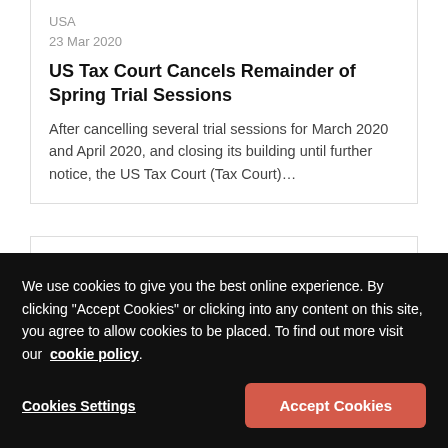USA
23 Mar 2020
US Tax Court Cancels Remainder of Spring Trial Sessions
After cancelling several trial sessions for March 2020 and April 2020, and closing its building until further notice, the US Tax Court (Tax Court)…
Holland & Knight LLP
USA
10 Feb 2020
We use cookies to give you the best online experience. By clicking "Accept Cookies" or clicking into any content on this site, you agree to allow cookies to be placed. To find out more visit our cookie policy.